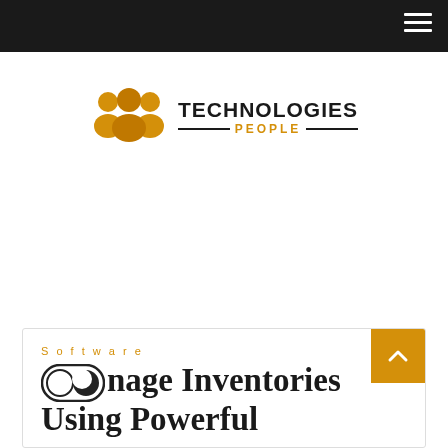Navigation bar with hamburger menu
[Figure (logo): Technologies People logo: three orange people icons followed by 'TECHNOLOGIES' in bold black and 'PEOPLE' in gold with horizontal lines on each side]
Software
Manage Inventories Using Powerful